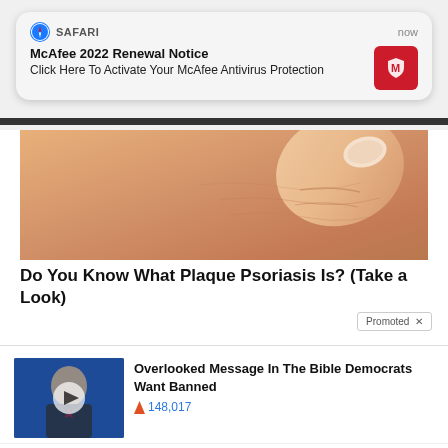[Figure (screenshot): Safari push notification popup: 'McAfee 2022 Renewal Notice - Click Here To Activate Your McAfee Antivirus Protection', timestamped 'now', with McAfee red shield icon]
[Figure (photo): Close-up photo of human skin with a finger/thumb, skin texture visible, warm orange/peach tones]
Do You Know What Plaque Psoriasis Is? (Take a Look)
Promoted X
[Figure (photo): Thumbnail of a man in a suit speaking at a podium, with a blue background and video play button overlay]
Overlooked Message In The Bible Democrats Want Banned
148,017
[Figure (photo): Thumbnail of prescription medicine bottles arranged together with a video play button overlay]
4 Worst Blood Pressure Drugs (Avoid At All Costs)
27,977